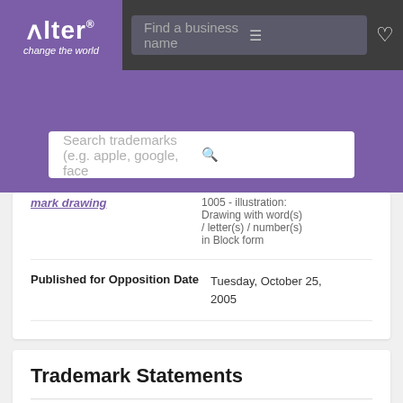[Figure (logo): Alter 'change the world' logo in purple box]
Find a business name [search bar with filter icon] [heart icon]
Search trademarks (e.g. apple, google, face [search icon]
Mark Drawing [partial/clipped row label]
1005 - Illustration: Drawing with word(s) / letter(s) / number(s) in Block form
Published for Opposition Date
Tuesday, October 25, 2005
Trademark Statements